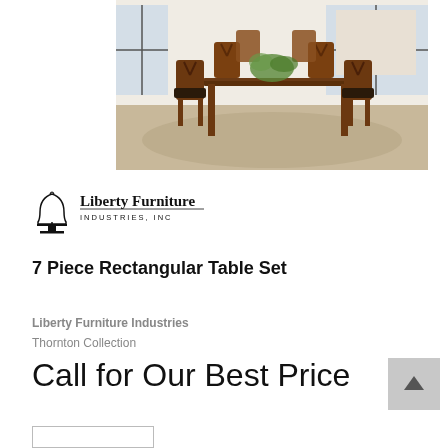[Figure (photo): A 7-piece dining room set with a rectangular wooden table and six X-back chairs with dark upholstered seats, set in a bright modern kitchen/dining room interior.]
[Figure (logo): Liberty Furniture Industries, Inc. logo with Liberty Bell icon and bold serif text.]
7 Piece Rectangular Table Set
Liberty Furniture Industries
Thornton Collection
Call for Our Best Price